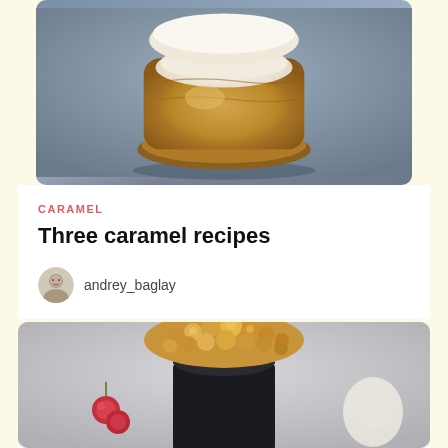[Figure (photo): Close-up photo of a caramel pastry/eclair cross-section showing creamy caramel filling, on a blue-gray background]
CARAMEL
Three caramel recipes
andrey_baglay
[Figure (photo): Photo of a dark chocolate cake topped with caramel popcorn, with decorative red berry garnishes on the sides, on a light background]